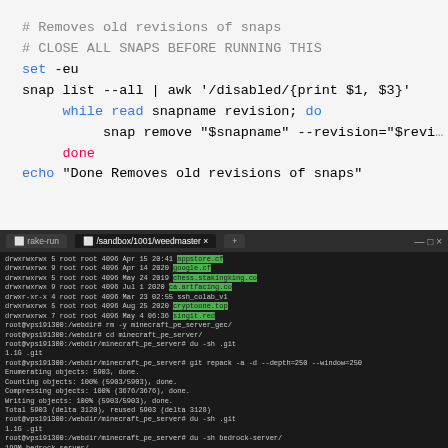[Figure (screenshot): Code editor screenshot showing a shell script that removes old revisions of snaps. Contains comments, set -eu, snap list pipe to awk, while read loop with snap remove command, done, and echo statement. Syntax highlighted with blue keywords and red built-ins.]
[Figure (screenshot): Terminal window (dark theme) showing directory listings with highlighted filenames in green, followed by git commands on minecraft_pe_server directory including git repack, git gc --aggressive --prune, showing object counting and compression progress.]